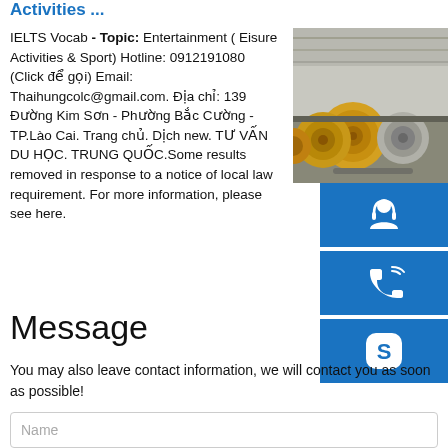Activities ...
IELTS Vocab - Topic: Entertainment ( Eisure Activities & Sport) Hotline: 0912191080 (Click để gọi) Email: Thaihungcolc@gmail.com. Địa chỉ: 139 Đường Kim Sơn - Phường Bắc Cường - TP.Lào Cai. Trang chủ. Dịch new. TƯ VẤN DU HỌC. TRUNG QUỐC.Some results removed in response to a notice of local law requirement. For more information, please see here.
[Figure (photo): Industrial warehouse interior with large yellow and silver coiled metal rolls stacked on shelves]
[Figure (infographic): Three blue square icon buttons: headset/customer support icon, phone/call icon, Skype icon]
Message
You may also leave contact information, we will contact you as soon as possible!
Name